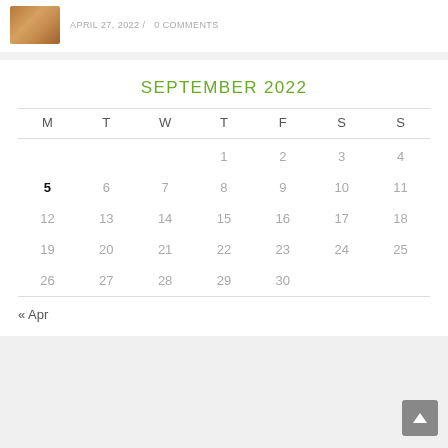APRIL 27, 2022 / 0 COMMENTS
| M | T | W | T | F | S | S |
| --- | --- | --- | --- | --- | --- | --- |
|  |  |  | 1 | 2 | 3 | 4 |
| 5 | 6 | 7 | 8 | 9 | 10 | 11 |
| 12 | 13 | 14 | 15 | 16 | 17 | 18 |
| 19 | 20 | 21 | 22 | 23 | 24 | 25 |
| 26 | 27 | 28 | 29 | 30 |  |  |
« Apr